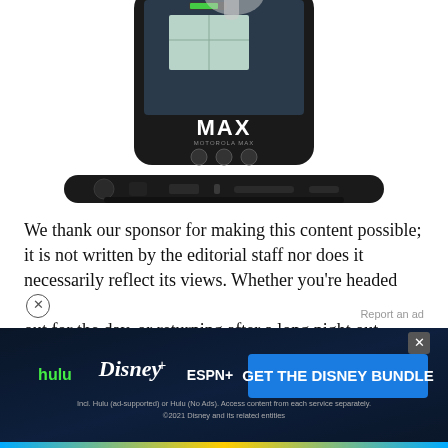[Figure (photo): A Motorola MAX smartphone device shown from below, with a hand touching the screen displaying a map and green battery indicator. The phone shows 'MAX' branding and three navigation buttons. A horizontal docking accessory sits below the phone.]
We thank our sponsor for making this content possible; it is not written by the editorial staff nor does it necessarily reflect its views. Whether you're headed out for the day, or returning after a long night out
[Figure (screenshot): Disney Bundle advertisement banner showing Hulu, Disney+, and ESPN+ logos with text 'GET THE DISNEY BUNDLE'. Fine print: 'Incl. Hulu (ad-supported) or Hulu (No Ads). Access content from each service separately. ©2021 Disney and its related entities'. Dark background with colorful gradient. X close button in top right.]